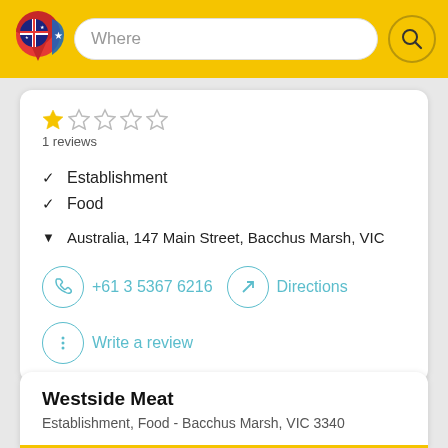Where (search bar with logo and search button)
★ ☆ ☆ ☆ ☆
1 reviews
✓ Establishment
✓ Food
▼ Australia, 147 Main Street, Bacchus Marsh, VIC
+61 3 5367 6216
Directions
Write a review
Westside Meat
Establishment, Food - Bacchus Marsh, VIC 3340